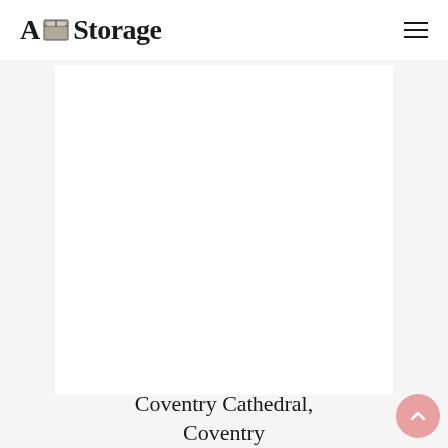A1 Storage
[Figure (photo): Large white rectangular content card / image area — appears to be a photo placeholder for Coventry Cathedral]
Coventry Cathedral, Coventry